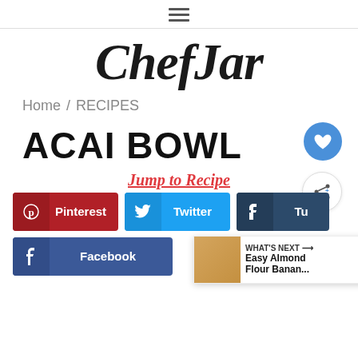≡ (hamburger menu icon)
ChefJar
Home / RECIPES
ACAI BOWL
Jump to Recipe
Pinterest  Twitter  Tumblr
Facebook
WHAT'S NEXT → Easy Almond Flour Banan...